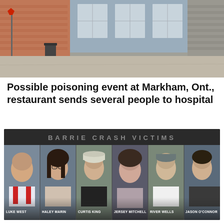[Figure (photo): Exterior of a brick building with large windows, appearing to be a restaurant in Markham, Ontario]
Possible poisoning event at Markham, Ont., restaurant sends several people to hospital
[Figure (infographic): Barrie Crash Victims panel showing six victims: Luke West, Haley Marin, Curtis King, Jersey Mitchell, River Wells, Jason O'Connor with their photos on dark background]